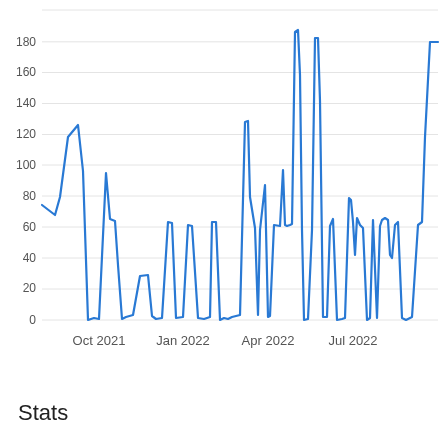[Figure (continuous-plot): Line chart showing values from approximately Aug 2021 to Sep 2022. Y-axis ranges from 0 to 180+. X-axis shows time labels: Oct 2021, Jan 2022, Apr 2022, Jul 2022. The line (blue) shows multiple peaks: ~125 (Oct 2021), ~97 (Nov 2021), ~65 (Dec 2021), ~63 (Jan 2022), ~153 (Feb 2022), ~60 (Mar 2022), ~110 (Apr 2022), ~153 (Apr 2022), ~185 (May 2022), ~155 (May 2022), ~65 (Jun 2022), ~10 (Jun 2022), ~159 (Jun 2022), ~82 (Jul 2022), ~97 (Aug 2022), ~100 (Sep 2022), ~180 (Sep 2022). Many near-zero troughs between peaks.]
Stats